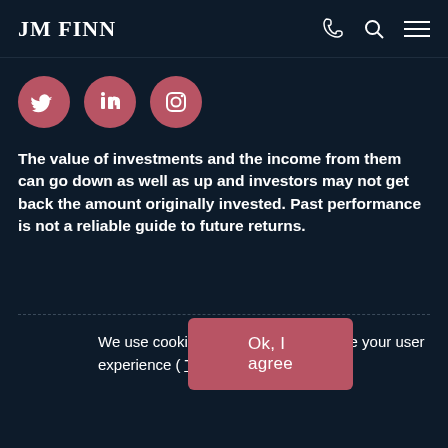JM FINN
[Figure (illustration): Three circular social media icons (Twitter, LinkedIn, Instagram) with a rose/pink background color]
The value of investments and the income from them can go down as well as up and investors may not get back the amount originally invested. Past performance is not a reliable guide to future returns.
We use cookies on this site to enhance your user experience ( Tell me more ).